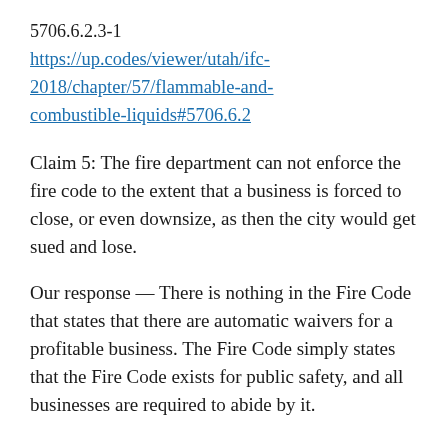5706.6.2.3-1
https://up.codes/viewer/utah/ifc-2018/chapter/57/flammable-and-combustible-liquids#5706.6.2
Claim 5: The fire department can not enforce the fire code to the extent that a business is forced to close, or even downsize, as then the city would get sued and lose.
Our response — There is nothing in the Fire Code that states that there are automatic waivers for a profitable business. The Fire Code simply states that the Fire Code exists for public safety, and all businesses are required to abide by it.